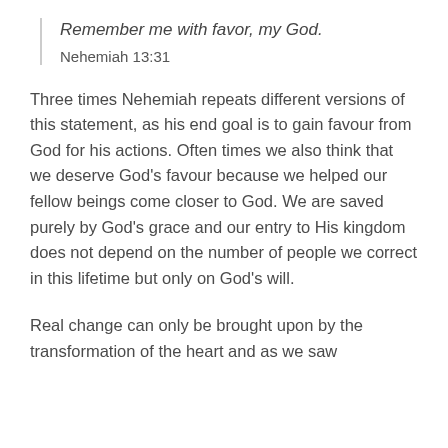Remember me with favor, my God.
Nehemiah 13:31
Three times Nehemiah repeats different versions of this statement, as his end goal is to gain favour from God for his actions. Often times we also think that we deserve God’s favour because we helped our fellow beings come closer to God. We are saved purely by God’s grace and our entry to His kingdom does not depend on the number of people we correct in this lifetime but only on God’s will.
Real change can only be brought upon by the transformation of the heart and as we saw